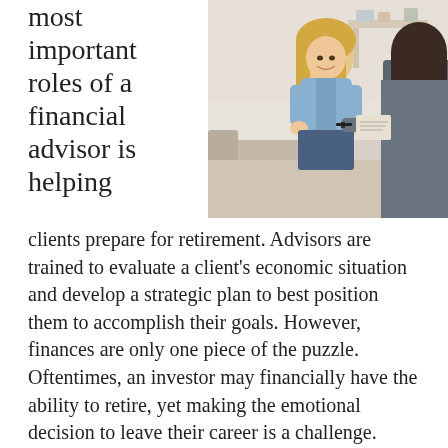most important roles of a financial advisor is helping
[Figure (photo): A smiling blonde woman in a blue shirt sits across from a person (seen from behind), appearing to have a financial consultation meeting in a bright office setting.]
clients prepare for retirement. Advisors are trained to evaluate a client's economic situation and develop a strategic plan to best position them to accomplish their goals. However, finances are only one piece of the puzzle. Oftentimes, an investor may financially have the ability to retire, yet making the emotional decision to leave their career is a challenge.
What Holds People Back From Making The Transition Into Retirement?